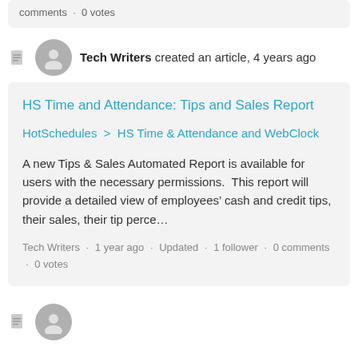comments · 0 votes
Tech Writers created an article, 4 years ago
HS Time and Attendance: Tips and Sales Report
HotSchedules > HS Time & Attendance and WebClock
A new Tips & Sales Automated Report is available for users with the necessary permissions. This report will provide a detailed view of employees' cash and credit tips, their sales, their tip perce…
Tech Writers · 1 year ago · Updated · 1 follower · 0 comments · 0 votes